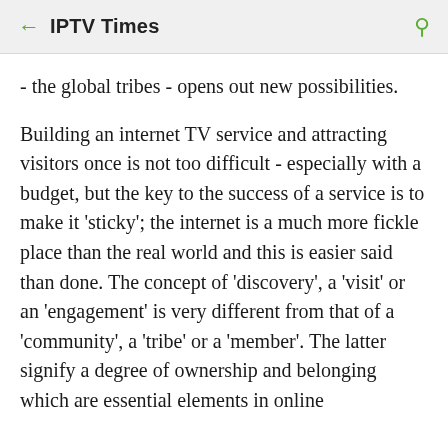← IPTV Times 🔍
- the global tribes - opens out new possibilities.
Building an internet TV service and attracting visitors once is not too difficult - especially with a budget, but the key to the success of a service is to make it 'sticky'; the internet is a much more fickle place than the real world and this is easier said than done. The concept of 'discovery', a 'visit' or an 'engagement' is very different from that of a 'community', a 'tribe' or a 'member'. The latter signify a degree of ownership and belonging which are essential elements in online